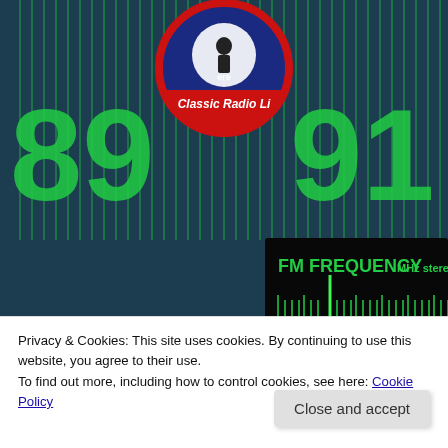[Figure (photo): Background image of a classic radio frequency dial showing FM FREQUENCY MHz stereo display with green neon numbers 87, 88, 89, 90, 91, 92, 93, 94 and frequency ticks on dark background. A circular Classic Radio Live logo is visible in the upper portion with the text 'ere Classic Radio Li' (partially visible) in red and white on a navy/red circular badge. Large green numbers 89 and 91 visible in background.]
Privacy & Cookies: This site uses cookies. By continuing to use this website, you agree to their use.
To find out more, including how to control cookies, see here: Cookie Policy
Close and accept
The Greaseman, WPOP